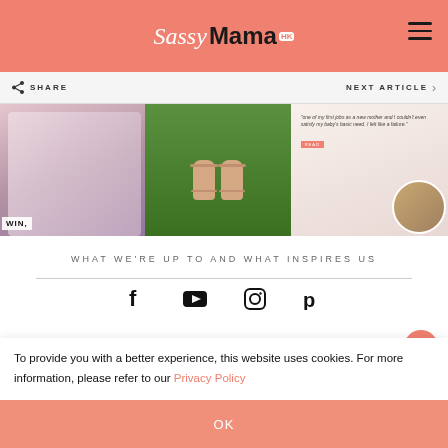Sassy Mama HK
[Figure (screenshot): Navigation bar with SHARE button on left and NEXT ARTICLE on right]
[Figure (photo): Three-panel image strip: left panel shows child in floral outfit with WIN label, center panel shows sandals on grass, right panel shows quote and mother/baby photo]
WHAT WE'RE UP TO AND WHAT INSPIRES US
[Figure (infographic): Social media icons row: Facebook, YouTube, Instagram, Pinterest]
To provide you with a better experience, this website uses cookies. For more information, please refer to our Privacy Policy
OK